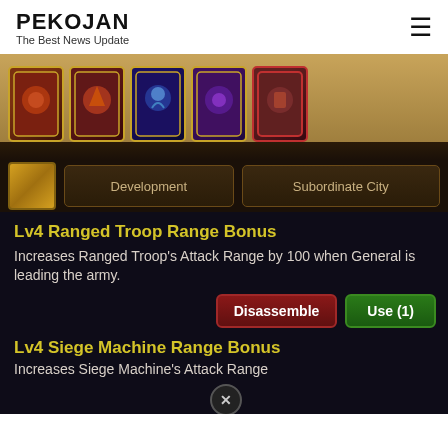PEKOJAN
The Best News Update
[Figure (screenshot): Mobile game screenshot showing card collection UI with Development and Subordinate City tabs, skill descriptions for Lv4 Ranged Troop Range Bonus and Lv4 Siege Machine Range Bonus, with Disassemble and Use (1) buttons]
Lv4 Ranged Troop Range Bonus
Increases Ranged Troop's Attack Range by 100 when General is leading the army.
Disassemble   Use (1)
Lv4 Siege Machine Range Bonus
Increases Siege Machine's Attack Range